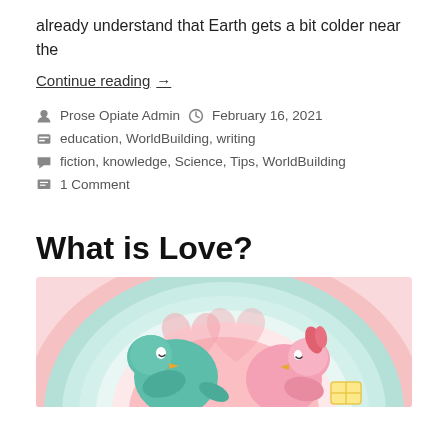already understand that Earth gets a bit colder near the
Continue reading  →
Prose Opiate Admin  February 16, 2021  education, WorldBuilding, writing  fiction, knowledge, Science, Tips, WorldBuilding  1 Comment
What is Love?
[Figure (illustration): Cartoon illustration of two cute birds (one teal/blue, one pink) facing each other as if about to kiss, with a rainbow and heart shapes in the pastel background.]